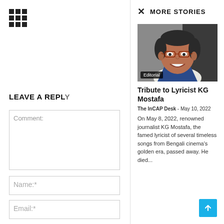[Figure (other): 3x3 grid icon (app menu icon) in the top-left corner]
LEAVE A REPLY
Comment:
Name:*
Email:*
MORE STORIES
[Figure (photo): Portrait photo of an elderly man (KG Mostafa) wearing glasses and a blue blazer, smiling. Editorial badge overlay at bottom left.]
Tribute to Lyricist KG Mostafa
The InCAP Desk  -  May 10, 2022
On May 8, 2022, renowned journalist KG Mostafa, the famed lyricist of several timeless songs from Bengali cinema's golden era, passed away. He died...